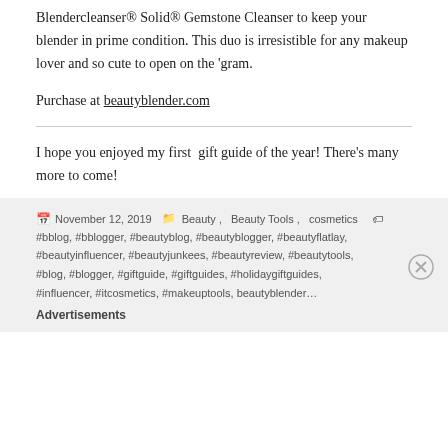Blendercleanser® Solid® Gemstone Cleanser to keep your blender in prime condition. This duo is irresistible for any makeup lover and so cute to open on the 'gram.
Purchase at beautyblender.com
I hope you enjoyed my first  gift guide of the year! There's many more to come!
November 12, 2019  Beauty, Beauty Tools, cosmetics  #bblog, #bblogger, #beautyblog, #beautyblogger, #beautyflatlay, #beautyinfluencer, #beautyjunkees, #beautyreview, #beautytools, #blog, #blogger, #giftguide, #giftguides, #holidaygiftguides, #influencer, #itcosmetics, #makeuptools, beautyblender  Advertisements